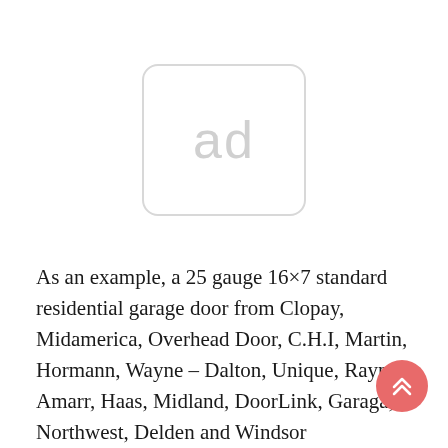[Figure (other): Advertisement placeholder box with rounded corners showing the text 'ad' in light gray]
As an example, a 25 gauge 16×7 standard residential garage door from Clopay, Midamerica, Overhead Door, C.H.I, Martin, Hormann, Wayne – Dalton, Unique, Raynor, Amarr, Haas, Midland, DoorLink, Garaga, Northwest, Delden and Windsor